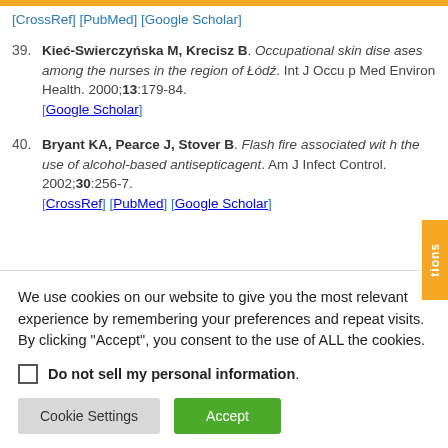[CrossRef] [PubMed] [Google Scholar]
39. Kieć-Swierczyńska M, Krecisz B. Occupational skin diseases among the nurses in the region of Łódź. Int J Occup Med Environ Health. 2000;13:179-84. [Google Scholar]
40. Bryant KA, Pearce J, Stover B. Flash fire associated with the use of alcohol-based antisepticagent. Am J Infect Control. 2002;30:256-7. [CrossRef] [PubMed] [Google Scholar]
We use cookies on our website to give you the most relevant experience by remembering your preferences and repeat visits. By clicking "Accept", you consent to the use of ALL the cookies.
Do not sell my personal information.